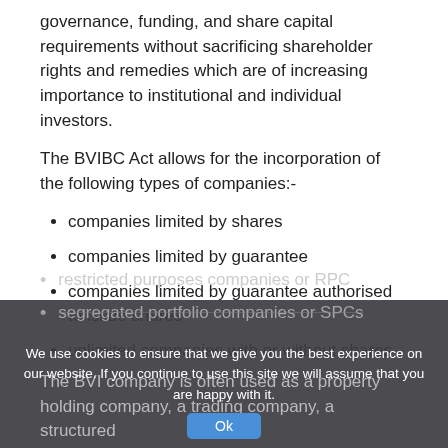governance, funding, and share capital requirements without sacrificing shareholder rights and remedies which are of increasing importance to institutional and individual investors.
The BVIBC Act allows for the incorporation of the following types of companies:-
companies limited by shares
companies limited by guarantee
companies limited by guarantee authorised to issue shares
unlimited companies with or without shares
restricted purposes companies or RPC
segregated portfolio companies or SPCs
The BVI company is often used as a property holding company, a trading company, a structured